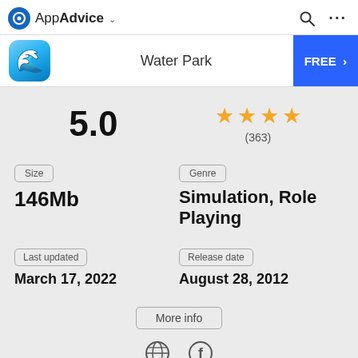AppAdvice
Water Park
FREE >
5.0
★★★★ (363)
Size
146Mb
Genre
Simulation, Role Playing
Last updated
March 17, 2022
Release date
August 28, 2012
More info